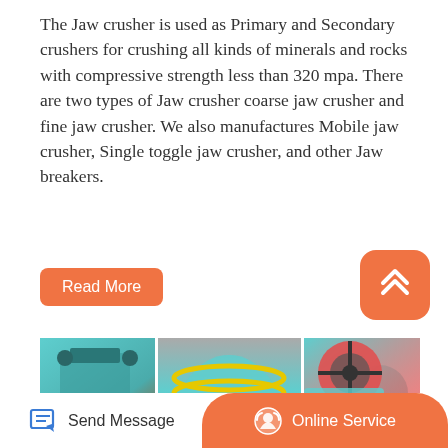The Jaw crusher is used as Primary and Secondary crushers for crushing all kinds of minerals and rocks with compressive strength less than 320 mpa. There are two types of Jaw crusher coarse jaw crusher and fine jaw crusher. We also manufactures Mobile jaw crusher, Single toggle jaw crusher, and other Jaw breakers.
[Figure (other): Orange rounded rectangle button labeled 'Read More']
[Figure (other): Orange rounded square scroll-to-top button with double chevron icon]
[Figure (photo): Grid of 5 industrial machinery photos showing jaw crushers, ball mills, and ore processing equipment. Center image spans full height showing a large cylindrical ball mill in teal/green. Top-left shows a jaw crusher against brick wall. Top-right shows a red flywheel jaw crusher. Bottom-left shows red and teal crusher. Bottom-center shows 'ORE PROCESSING PLANT' label on blue background. Bottom-right shows teal cylindrical drum.]
[Figure (other): Bottom bar with Send Message button (blue pencil icon) on left and orange Online Service button with headset icon on right]